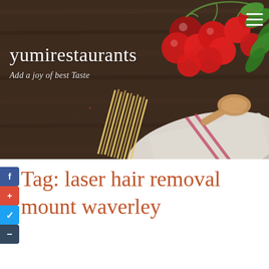[Figure (photo): Website header banner showing a dark wooden surface with cherry tomatoes on vine, fresh basil leaves, raw spaghetti, a wooden spoon, and a linen napkin/cloth. The background is a dark brown wood texture.]
yumirestaurants
Add a joy of best Taste
Tag: laser hair removal mount waverley